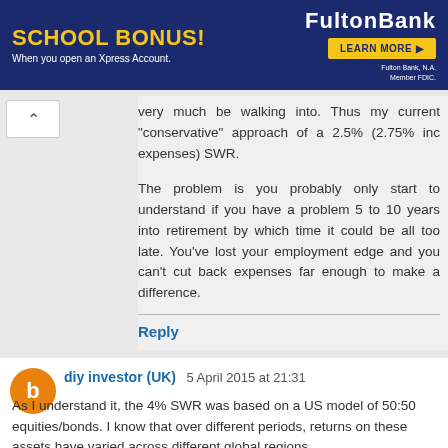[Figure (other): Fulton Bank advertisement banner with blue background. Shows 'SCHOOL BONUS! When you open an Xpress Account.' in yellow/white text and a 'LEARN MORE' button, with Fulton Bank logo and FDIC member text.]
very much be walking into. Thus my current "conservative" approach of a 2.5% (2.75% inc expenses) SWR.

The problem is you probably only start to understand if you have a problem 5 to 10 years into retirement by which time it could be all too late. You've lost your employment edge and you can't cut back expenses far enough to make a difference.
Reply
diy investor (UK)  5 April 2015 at 21:31

As I understand it, the 4% SWR was based on a US model of 50:50 equities/bonds. I know that over different periods, returns on these assets have varied across different global regions.